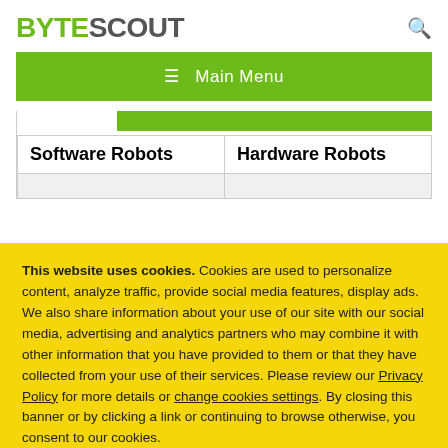BYTESCOUT
≡ Main Menu
| Software Robots | Hardware Robots |
| --- | --- |
|  |  |
This website uses cookies. Cookies are used to personalize content, analyze traffic, provide social media features, display ads. We also share information about your use of our site with our social media, advertising and analytics partners who may combine it with other information that you have provided to them or that they have collected from your use of their services. Please review our Privacy Policy for more details or change cookies settings. By closing this banner or by clicking a link or continuing to browse otherwise, you consent to our cookies.
OK